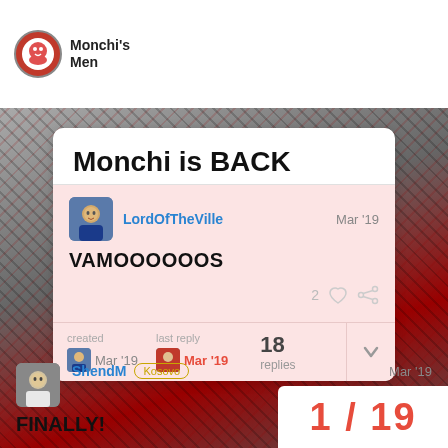Monchi's Men
[Figure (screenshot): Forum post screenshot showing 'Monchi is BACK' thread by LordOfTheVille (Mar '19) with text VAMOOOOOOS, 2 likes, created Mar '19, last reply Mar '19, 18 replies]
Monchi is BACK
LordOfTheVille
Mar '19
VAMOOOOOOS
created Mar '19  last reply Mar '19  18 replies
ShendM Kosovo Mar '19
FINALLY!
1 / 19